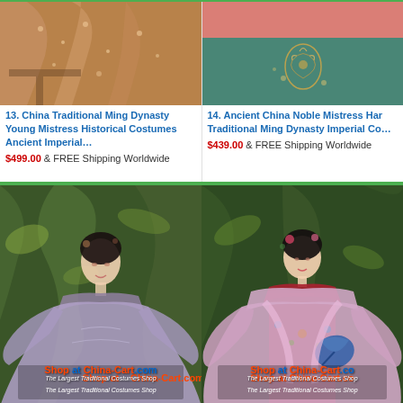[Figure (photo): Chinese Ming Dynasty traditional costume - ornate floral brocade robe in bronze/copper tones displayed draped]
[Figure (photo): Ancient China Noble Mistress Hanfu - pink top with teal embroidered skirt with floral dragon motif]
13. China Traditional Ming Dynasty Young Mistress Historical Costumes Ancient Imperial…
$499.00 & FREE Shipping Worldwide
14. Ancient China Noble Mistress Han Traditional Ming Dynasty Imperial Co…
$439.00 & FREE Shipping Worldwide
[Figure (photo): Woman wearing flowing lavender/grey Hanfu traditional Chinese costume with wide sleeves, posed outdoors. Watermark: Shop at China-Cart.com The Largest Traditional Costumes Shop]
[Figure (photo): Woman in pink embroidered Hanfu robe over red inner garment, holding blue decorative fan, outdoors. Watermark: Shop at China-Cart.com The Largest Traditional Costumes Shop]